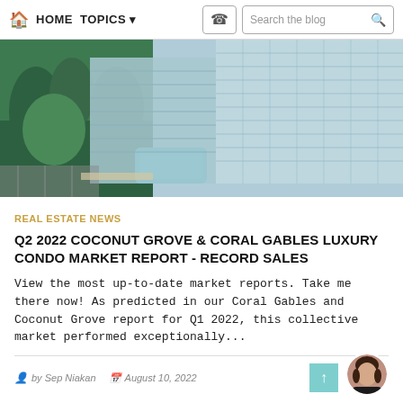HOME  TOPICS  Search the blog
[Figure (photo): Aerial view of modern luxury glass condominium buildings in Coconut Grove / Coral Gables area, surrounded by tropical greenery and a pool area.]
REAL ESTATE NEWS
Q2 2022 COCONUT GROVE & CORAL GABLES LUXURY CONDO MARKET REPORT - RECORD SALES
View the most up-to-date market reports. Take me there now! As predicted in our Coral Gables and Coconut Grove report for Q1 2022, this collective market performed exceptionally...
by Sep Niakan  August 10, 2022